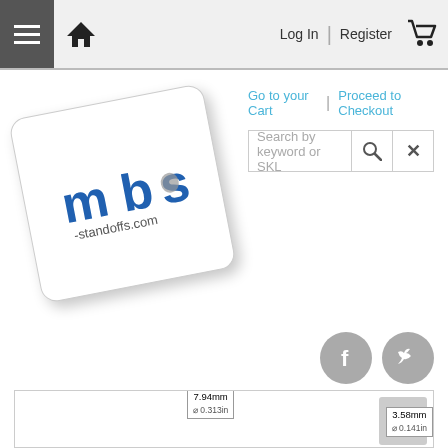[Figure (screenshot): Website navigation bar with hamburger menu icon, home icon, Log In, Register, and shopping cart icon]
[Figure (logo): mbs-standoffs.com company logo on a rotated white card with shadow]
Go to your Cart  |  Proceed to Checkout
Search by keyword or SKL
[Figure (screenshot): Facebook and Twitter social media icons (grey circles)]
[Figure (engineering-diagram): Partial engineering diagram of a standoff component showing dimension labels: 7.94mm / 0.313in and 3.58mm / 0.141in]